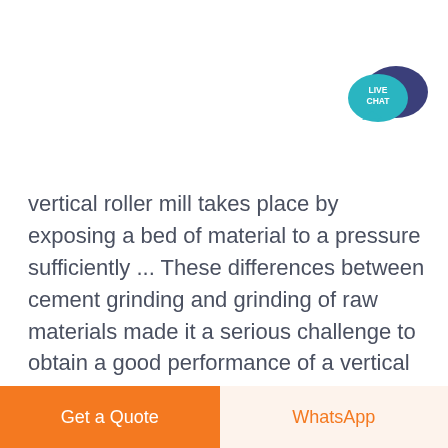[Figure (illustration): Live Chat icon: a teal speech bubble with 'LIVE CHAT' text overlapping a dark blue/purple speech bubble, positioned top right]
vertical roller mill takes place by exposing a bed of material to a pressure sufficiently ... These differences between cement grinding and grinding of raw materials made it a serious challenge to obtain a good performance of a vertical roller mill in cement grinding. Today, however, the OK mill has become an excellent example of a mill
Get a Quote
WhatsApp